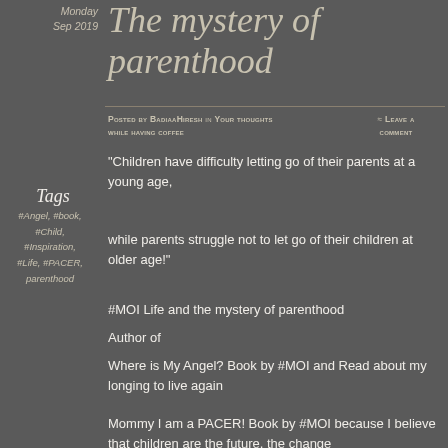Monday
Sep 2019
The mystery of parenthood
Posted by BadiaaHiresh in Your thoughts while having coffee ≈ Leave a comment
“Children have difficulty letting go of their parents at a young age,
Tags
#Angel, #book, #Child, #Inspiration, #Life, #PACER, parenthood
while parents struggle not to let go of their children at older age!”
#MOI Life and the mystery of parenthood
Author of
Where is My Angel? Book by #MOI and Read about my longing to live again
Mommy I am a PACER! Book by #MOI because I believe that children are the future, the change